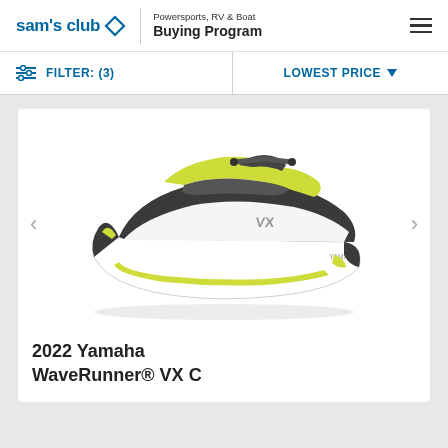sam's club | Powersports, RV & Boat Buying Program
FILTER: (3)   LOWEST PRICE
[Figure (photo): 2022 Yamaha WaveRunner VX C personal watercraft, white and yellow-green/chartreuse color scheme with dark gray accents, shown in three-quarter view from left side]
2022 Yamaha WaveRunner® VX C